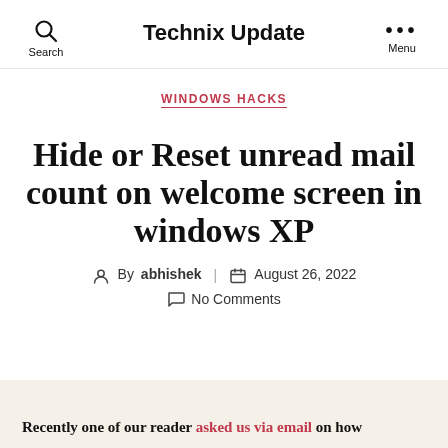Technix Update | Search | Menu
WINDOWS HACKS
Hide or Reset unread mail count on welcome screen in windows XP
By abhishek  August 26, 2022
No Comments
Recently one of our reader asked us via email on how